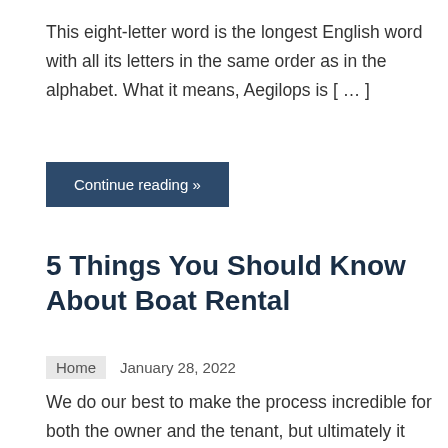This eight-letter word is the longest English word with all its letters in the same order as in the alphabet. What it means, Aegilops is [ … ]
Continue reading »
5 Things You Should Know About Boat Rental
Home   January 28, 2022
We do our best to make the process incredible for both the owner and the tenant, but ultimately it comes down to the experience you [ … ]